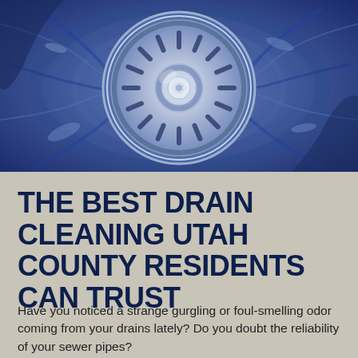[Figure (photo): Overhead aerial view of a metal sink drain with water swirling around it, tinted in blue tones.]
THE BEST DRAIN CLEANING UTAH COUNTY RESIDENTS CAN TRUST
Have you noticed a strange gurgling or foul-smelling odor coming from your drains lately? Do you doubt the reliability of your sewer pipes?